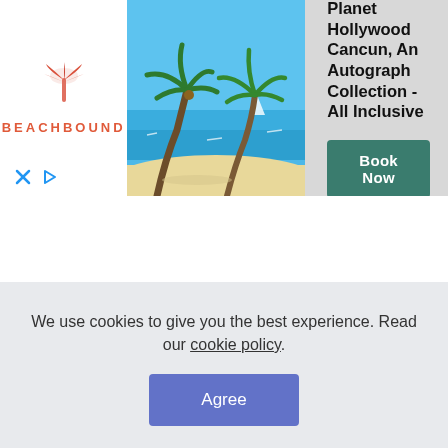[Figure (screenshot): Advertisement banner for Beachbound travel agency featuring a tropical beach photo with palm trees, the Beachbound logo with a pink palm tree icon, and a 'Book Now' button for Planet Hollywood Cancun, An Autograph Collection - All Inclusive]
Planet Hollywood Cancun, An Autograph Collection - All Inclusive
Book Now
We use cookies to give you the best experience. Read our cookie policy.
Agree